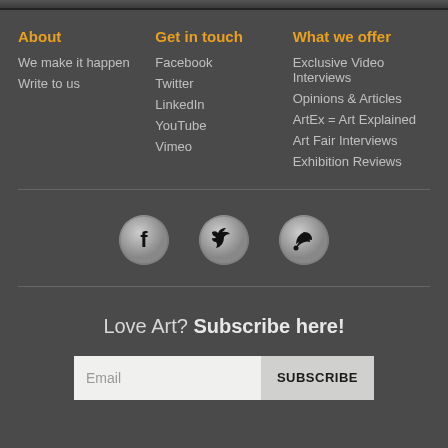About
We make it happen
Write to us
Get in touch
Facebook
Twitter
LinkedIn
YouTube
Vimeo
What we offer
Exclusive Video Interviews
Opinions & Articles
ArtEx = Art Explained
Art Fair Interviews
Exhibition Reviews
[Figure (illustration): Three circular social media icon buttons: Facebook (f), Twitter (bird), RSS feed icons on dark background]
Love Art? Subscribe here!
Email | SUBSCRIBE